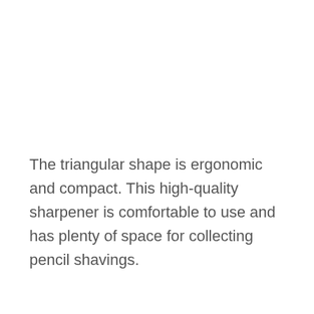The triangular shape is ergonomic and compact. This high-quality sharpener is comfortable to use and has plenty of space for collecting pencil shavings.